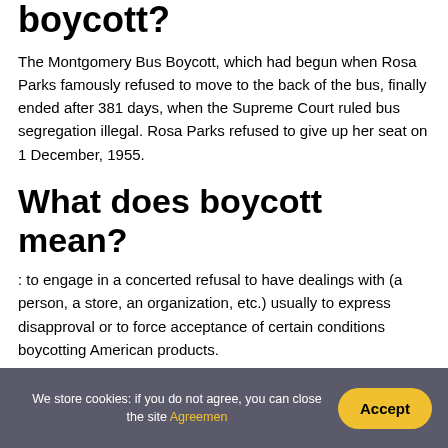boycott?
The Montgomery Bus Boycott, which had begun when Rosa Parks famously refused to move to the back of the bus, finally ended after 381 days, when the Supreme Court ruled bus segregation illegal. Rosa Parks refused to give up her seat on 1 December, 1955.
What does boycott mean?
: to engage in a concerted refusal to have dealings with (a person, a store, an organization, etc.) usually to express disapproval or to force acceptance of certain conditions boycotting American products.
We store cookies: if you do not agree, you can close the site Agreemen  Accept